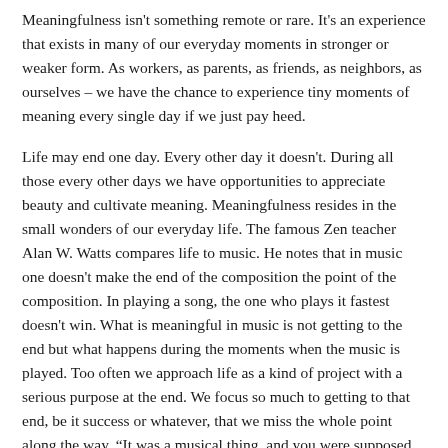Meaningfulness isn't something remote or rare. It's an experience that exists in many of our everyday moments in stronger or weaker form. As workers, as parents, as friends, as neighbors, as ourselves – we have the chance to experience tiny moments of meaning every single day if we just pay heed.
Life may end one day. Every other day it doesn't. During all those every other days we have opportunities to appreciate beauty and cultivate meaning. Meaningfulness resides in the small wonders of our everyday life. The famous Zen teacher Alan W. Watts compares life to music. He notes that in music one doesn't make the end of the composition the point of the composition. In playing a song, the one who plays it fastest doesn't win. What is meaningful in music is not getting to the end but what happens during the moments when the music is played. Too often we approach life as a kind of project with a serious purpose at the end. We focus so much to getting to that end, be it success or whatever, that we miss the whole point along the way. "It was a musical thing, and you were supposed to sing or dance while the music was being played."
Consider the music illustrator. What happens often when we hear a tune. But...